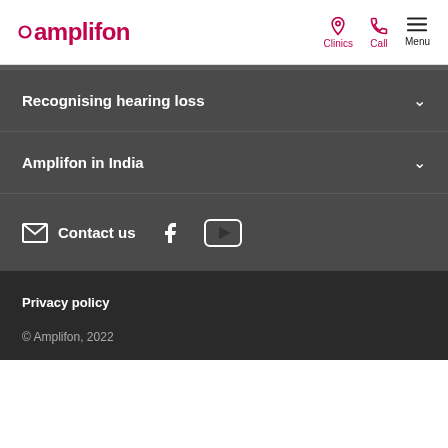amplifon — Clinics | Call | Menu
Recognising hearing loss
Amplifon in India
Contact us
Privacy policy
© Amplifon, 2022